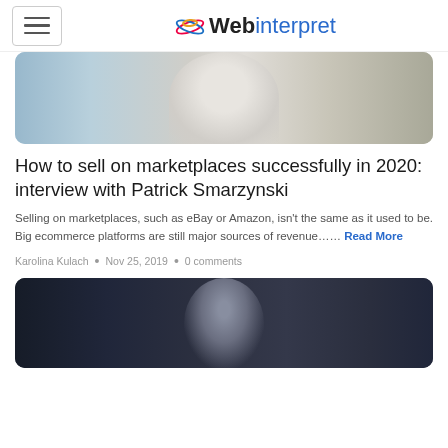Webinterpret
[Figure (photo): Photo of Patrick Smarzynski, a man in a white shirt, cropped at the top of the page]
How to sell on marketplaces successfully in 2020: interview with Patrick Smarzynski
Selling on marketplaces, such as eBay or Amazon, isn't the same as it used to be. Big ecommerce platforms are still major sources of revenue...... Read More
Karolina Kulach • Nov 25, 2019 • 0 comments
[Figure (photo): Photo of a young man in a blue shirt, partially visible at the bottom of the page]